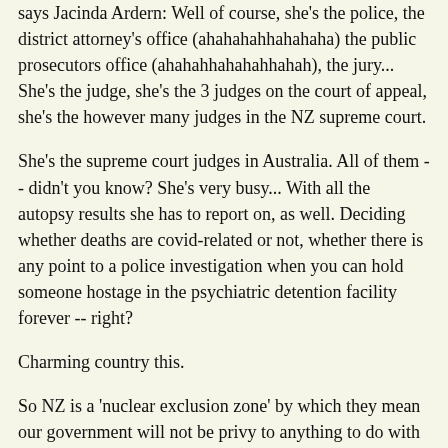says Jacinda Ardern: Well of course, she's the police, the district attorney's office (ahahahahhahahaha) the public prosecutors office (ahahahhahahahhahah), the jury... She's the judge, she's the 3 judges on the court of appeal, she's the however many judges in the NZ supreme court.
She's the supreme court judges in Australia. All of them -- didn't you know? She's very busy... With all the autopsy results she has to report on, as well. Deciding whether deaths are covid-related or not, whether there is any point to a police investigation when you can hold someone hostage in the psychiatric detention facility forever -- right?
Charming country this.
So NZ is a 'nuclear exclusion zone' by which they mean our government will not be privy to anything to do with nuclear anything. Because they cannot be trusted to be responsible not even with the little teaser things you give them just to see...
Just enough rope to hang themselves with.
Is the idea of it.